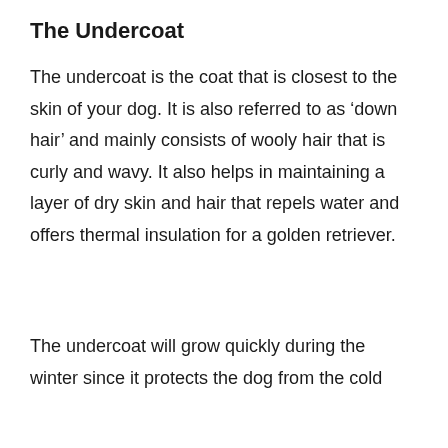The Undercoat
The undercoat is the coat that is closest to the skin of your dog. It is also referred to as ‘down hair’ and mainly consists of wooly hair that is curly and wavy. It also helps in maintaining a layer of dry skin and hair that repels water and offers thermal insulation for a golden retriever.
The undercoat will grow quickly during the winter since it protects the dog from the cold